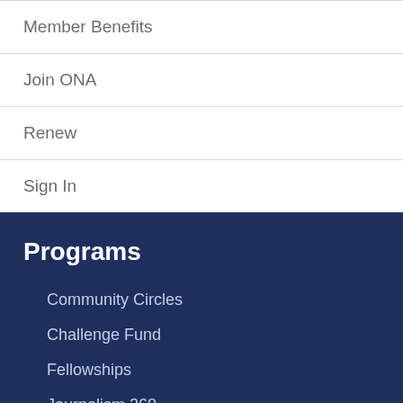Member Benefits
Join ONA
Renew
Sign In
Programs
Community Circles
Challenge Fund
Fellowships
Journalism 360
ONA Local
Student Newsroom